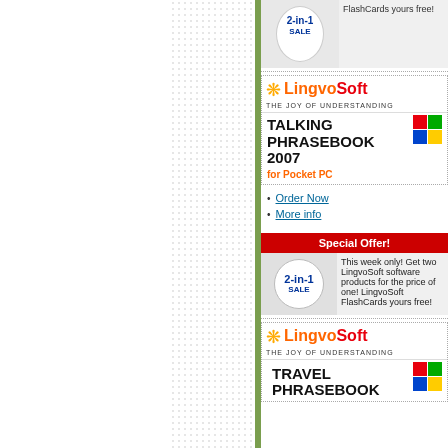[Figure (other): Partial 2-in-1 SALE badge table at top of right panel showing LingvoSoft FlashCards free offer]
[Figure (other): LingvoSoft Talking Phrasebook 2007 for Pocket PC advertisement with logo]
Order Now
More info
| Special Offer! |
| --- |
| 2-in-1 SALE | This week only! Get two LingvoSoft software products for the price of one! LingvoSoft FlashCards yours free! |
[Figure (other): LingvoSoft Travel Phrasebook advertisement with logo - partial view]